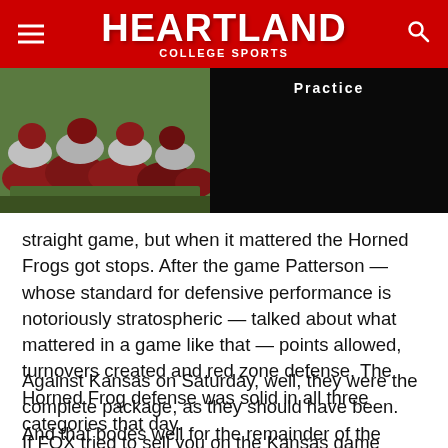Heartland College Sports
[Figure (photo): Left half: football players stretching on field during practice wearing red/maroon uniforms. Right half: dark/black image with partially visible text 'Practice'.]
straight game, but when it mattered the Horned Frogs got stops. After the game Patterson — whose standard for defensive performance is notoriously stratospheric — talked about what mattered in a game like that — points allowed, turnovers created and red zone defense. The Horned Frog defense was solid in all three categories that day.
Against Kansas on Saturday, well, they were the complete package, as they should have been. And that bodes well for the remainder of the schedule, which is gradually ramping up.
If FOX tried to sell you on the Kansas game being a trap